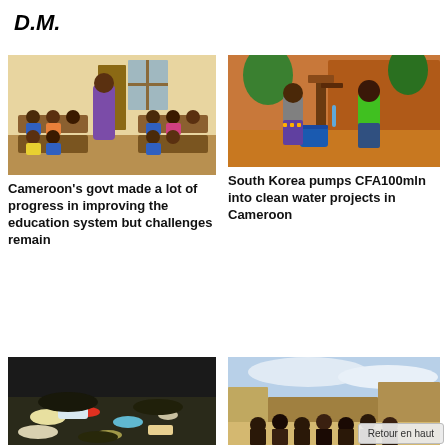D.M.
[Figure (photo): Teacher in purple dress standing in front of students seated at wooden desks in a classroom in Cameroon]
Cameroon's govt made a lot of progress in improving the education system but challenges remain
[Figure (photo): Two people using a water pump with a blue bucket, orange/brown building in background, in Cameroon]
South Korea pumps CFA100mln into clean water projects in Cameroon
[Figure (photo): Garbage and plastic waste on dark ground]
[Figure (photo): Group of people standing in an outdoor area, some buildings visible]
Retour en haut